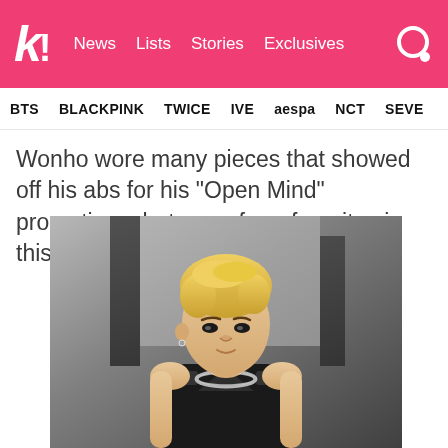k! News Lists Stories Exclusives
BTS BLACKPINK TWICE IVE aespa NCT SEVE
Wonho wore many pieces that showed off his abs for his “Open Mind” promotions, but one of our favorites is this sleeveless technical vest.
[Figure (photo): Photo of Wonho with blonde hair wearing a black sleeveless technical vest and silver chain necklace, looking slightly upward, photographed outdoors with a blurred dark background]